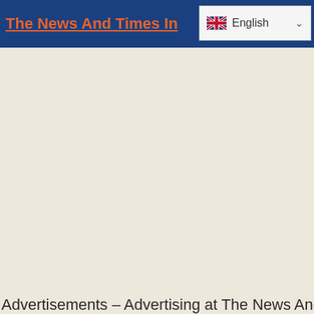The News And Times In... English
Advertisements – Advertising at The News And Times